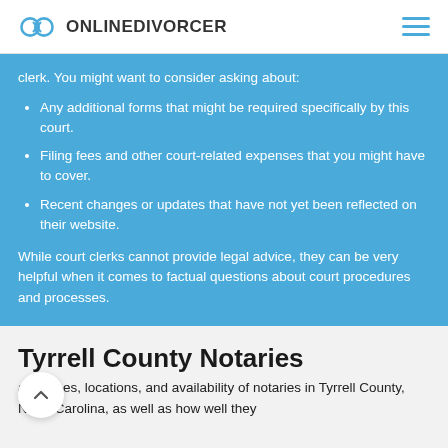ONLINEDIVORCER
clerk. You might want to consider asking about:
Any additional forms that might be required specifically by this court.
Filing fees and other court-related expenses that you might have to cover.
Recent changes or updates that have not yet been reflected on their website.
While court clerks cannot provide legal advice, they can be very helpful when it comes to factual questions about court procedures and processes.
Tyrrell County Notaries
aring fees, locations, and availability of notaries in Tyrrell County, North Carolina, as well as how well they